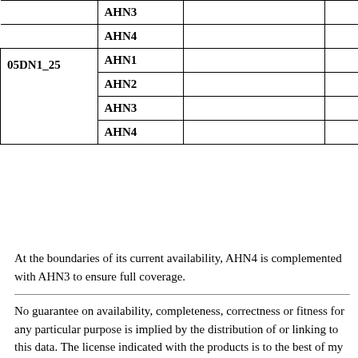| ID | AHN Level |  |  |
| --- | --- | --- | --- |
|  | AHN3 |  |  |
|  | AHN4 |  |  |
| 05DN1_25 | AHN1 |  |  |
|  | AHN2 |  |  |
|  | AHN3 |  |  |
|  | AHN4 |  |  |
At the boundaries of its current availability, AHN4 is complemented with AHN3 to ensure full coverage.
No guarantee on availability, completeness, correctness or fitness for any particular purpose is implied by the distribution of or linking to this data. The license indicated with the products is to the best of my knowledge at the time of writing. Please confirm the applicable license with the source before integrating the data.